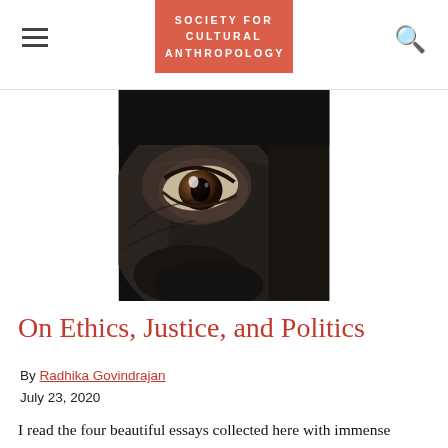SOCIETY FOR CULTURAL ANTHROPOLOGY
[Figure (photo): Close-up photograph of a dark-furred animal (appears to be a cow or similar animal) showing one eye in detail against a dark background.]
On Ethics, Justice, and Politics
By Radhika Govindrajan
July 23, 2020
I read the four beautiful essays collected here with immense pleasure and a deep sense of gratitude. They reminded me that the ideas and conjectures we